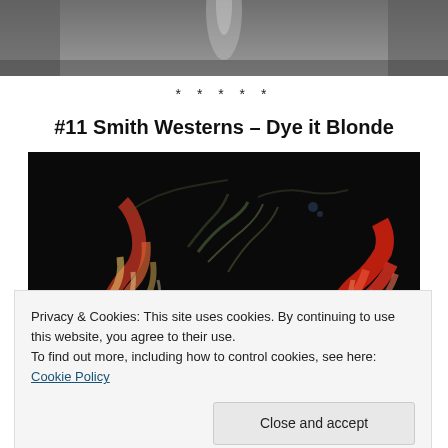[Figure (photo): Partial top image, mostly grey tones, cropped]
* * * * *
#11 Smith Westerns – Dye it Blonde
[Figure (photo): Dark floral/abstract marbled image with reds, whites, and greens on black background]
Privacy & Cookies: This site uses cookies. By continuing to use this website, you agree to their use.
To find out more, including how to control cookies, see here: Cookie Policy
Close and accept
[Figure (photo): Bottom portion of floral image, partially visible]